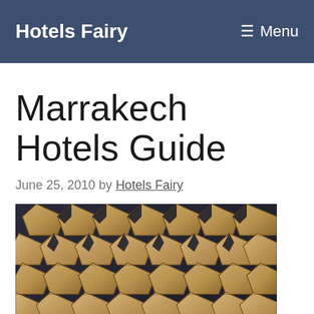Hotels Fairy  ☰ Menu
Marrakech Hotels Guide
June 25, 2010 by Hotels Fairy
[Figure (photo): Architectural detail photo showing an ornate Moroccan lattice/geometric ceiling structure with interlocking wooden or metal diamond and hexagonal shapes, viewed from below, with warm golden/brown tones and dark voids between the structural elements.]